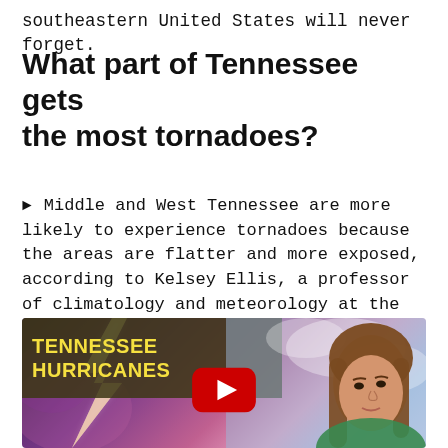southeastern United States will never forget.
What part of Tennessee gets the most tornadoes?
► Middle and West Tennessee are more likely to experience tornadoes because the areas are flatter and more exposed, according to Kelsey Ellis, a professor of climatology and meteorology at the University of Tennessee.
[Figure (screenshot): YouTube video thumbnail showing 'TENNESSEE HURRICANES' text in yellow on dark green/olive background on the left, a woman looking upward on the right side with stormy sky background, lightning on the left, and a red YouTube play button in the center.]